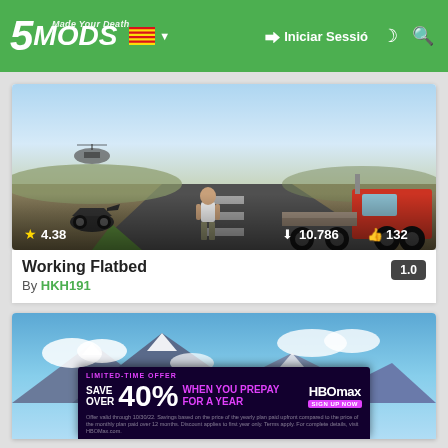5MODS – Iniciar Sessió
[Figure (screenshot): GTA V screenshot showing a flatbed tow truck on an airstrip with a sports car and a character standing in the middle. Rating: 4.38 stars, 10.786 downloads, 132 likes.]
Working Flatbed
By HKH191
[Figure (screenshot): GTA V screenshot showing a mountainous landscape with blue sky and clouds, partially visible at the bottom of the page. An advertisement overlay for HBOMax is visible: LIMITED-TIME OFFER SAVE OVER 40% WHEN YOU PREPAY FOR A YEAR HBOMAX]